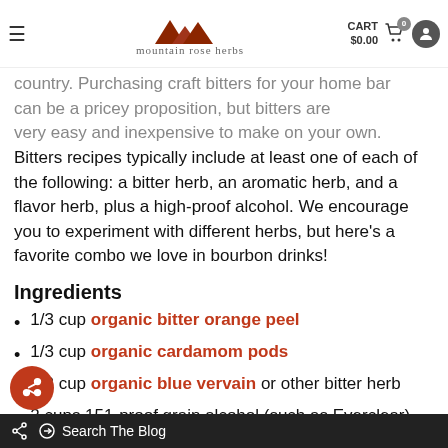mountain rose herbs | CART $0.00
country. Purchasing craft bitters for your home bar can be a pricey proposition, but bitters are very easy and inexpensive to make on your own. Bitters recipes typically include at least one of each of the following: a bitter herb, an aromatic herb, and a flavor herb, plus a high-proof alcohol. We encourage you to experiment with different herbs, but here's a favorite combo we love in bourbon drinks!
Ingredients
1/3 cup organic bitter orange peel
1/3 cup organic cardamom pods
1/3 cup organic blue vervain or other bitter herb
2 cups 151-proof grain alcohol (such as Everclear)
1 cup 101-proof bourbon (such as Wild Turkey 101)